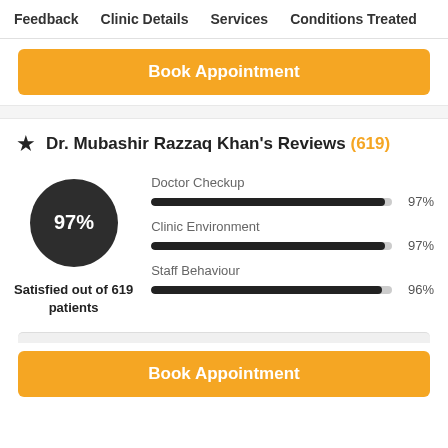Feedback  Clinic Details  Services  Conditions Treated
Book Appointment
Dr. Mubashir Razzaq Khan's Reviews (619)
[Figure (donut-chart): 97% Satisfied out of 619 patients]
[Figure (bar-chart): Ratings]
Book Appointment